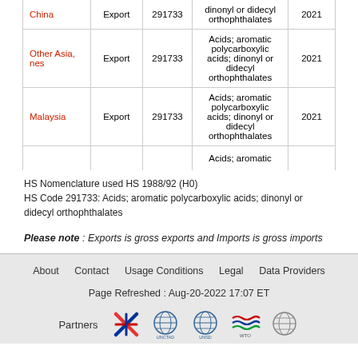| Country | Flow | Code | Description | Year |
| --- | --- | --- | --- | --- |
| China | Export | 291733 | Acids; aromatic polycarboxylic acids; dinonyl or didecyl orthophthalates | 2021 |
| Other Asia, nes | Export | 291733 | Acids; aromatic polycarboxylic acids; dinonyl or didecyl orthophthalates | 2021 |
| Malaysia | Export | 291733 | Acids; aromatic polycarboxylic acids; dinonyl or didecyl orthophthalates | 2021 |
| (partial) |  |  | Acids; aromatic |  |
HS Nomenclature used HS 1988/92 (H0)
HS Code 291733: Acids; aromatic polycarboxylic acids; dinonyl or didecyl orthophthalates
Please note : Exports is gross exports and Imports is gross imports
About  Contact  Usage Conditions  Legal  Data Providers
Page Refreshed : Aug-20-2022 17:07 ET
[Figure (logo): Partner logos: ITC, UNCTAD, UNSD, WTO, WCO]